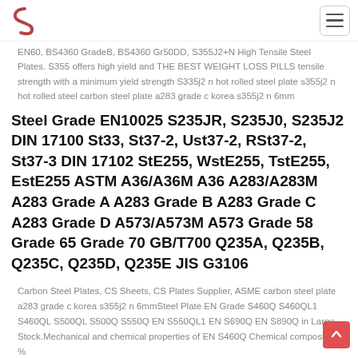Logo and navigation header
EN60, BS4360 GradeB, BS4360 Gr50DD, S355J2+N High Tensile Steel Plates. S355 offers high yield and THE BEST WEIGHT LOSS PILLS tensile strength with a minimum yield strength S335j2 n hot rolled steel plate s355j2 n hot rolled steel carbon steel plate a283 grade c korea s355j2 n 6mm
Steel Grade EN10025 S235JR, S235J0, S235J2 DIN 17100 St33, St37-2, Ust37-2, RSt37-2, St37-3 DIN 17102 StE255, WstE255, TstE255, EstE255 ASTM A36/A36M A36 A283/A283M A283 Grade A A283 Grade B A283 Grade C A283 Grade D A573/A573M A573 Grade 58 Grade 65 Grade 70 GB/T700 Q235A, Q235B, Q235C, Q235D, Q235E JIS G3106
Carbon Steel Plates, CS Sheets, CS Plates Supplier, ASME carbon steel plate a283 grade c korea s355j2 n 6mmSteel Plate EN Grade S460Q S460QL1 S460QL S500QL S500Q S550Q EN S550QL1 EN S690Q EN S890Q in Large Stock.Mechanical and chemical properties of EN S460Q Chemical composition %